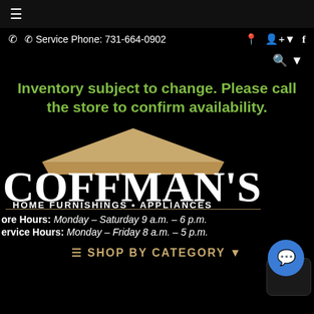≡
☎ Service Phone: 731-664-0902
Inventory subject to change. Please call the store to confirm availability.
[Figure (logo): Coffman's Home Furnishings & Appliances logo with tan roof graphic above white text on black background]
Store Hours: Monday – Saturday 9 a.m. – 6 p.m.
Service Hours: Monday – Friday 8 a.m. – 5 p.m.
≡ SHOP BY CATEGORY ▼